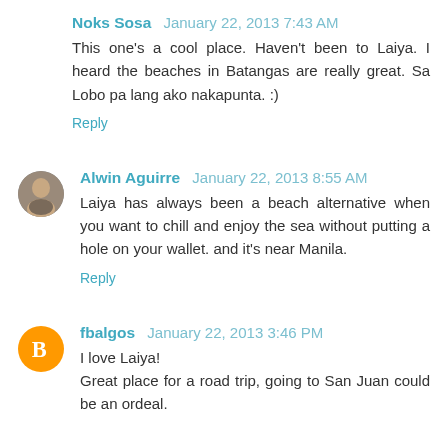Noks Sosa January 22, 2013 7:43 AM
This one's a cool place. Haven't been to Laiya. I heard the beaches in Batangas are really great. Sa Lobo pa lang ako nakapunta. :)
Reply
Alwin Aguirre January 22, 2013 8:55 AM
Laiya has always been a beach alternative when you want to chill and enjoy the sea without putting a hole on your wallet. and it's near Manila.
Reply
fbalgos January 22, 2013 3:46 PM
I love Laiya!
Great place for a road trip, going to San Juan could be an ordeal.